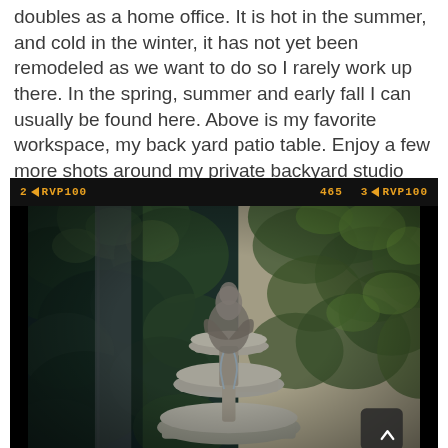doubles as a home office. It is hot in the summer, and cold in the winter, it has not yet been remodeled as we want to do so I rarely work up there. In the spring, summer and early fall I can usually be found here. Above is my favorite workspace, my back yard patio table. Enjoy a few more shots around my private backyard studio courtesy of Instagram.
[Figure (photo): Instagram-style photo of a backyard garden featuring a tiered stone fountain surrounded by ivy and lush green foliage. The photo has a film strip border at the top showing 'RVP100' film designation. A navigation chevron button appears in the bottom right.]